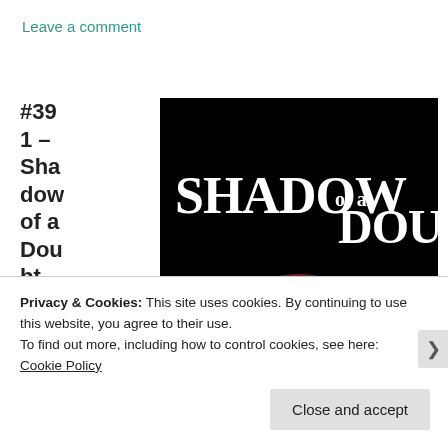Leave a comment
#391 – Shadow of a Doubt,
[Figure (photo): Movie title card for 'Shadow of a Doubt' — large white serif text on black background with a red hat partially visible at the bottom]
Privacy & Cookies: This site uses cookies. By continuing to use this website, you agree to their use.
To find out more, including how to control cookies, see here:
Cookie Policy
Close and accept